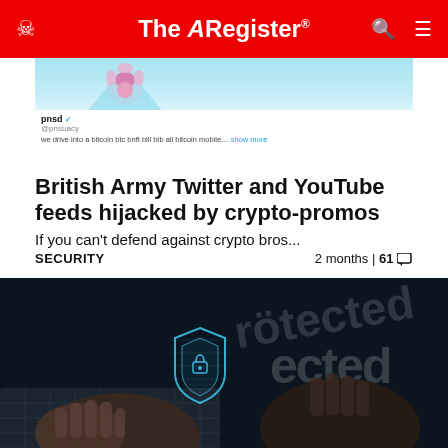The Register
[Figure (screenshot): Partial screenshot of a tweet showing a profile avatar with flower illustration, username 'pnsd' with verification badge, handle, and partially visible tweet text]
British Army Twitter and YouTube feeds hijacked by crypto-promos
If you can't defend against crypto bros...
SECURITY   2 months | 61
[Figure (photo): Dark photo of hands typing on a laptop keyboard with a glowing blue digital security shield hologram overlay and the word 'protected' visible in the background]